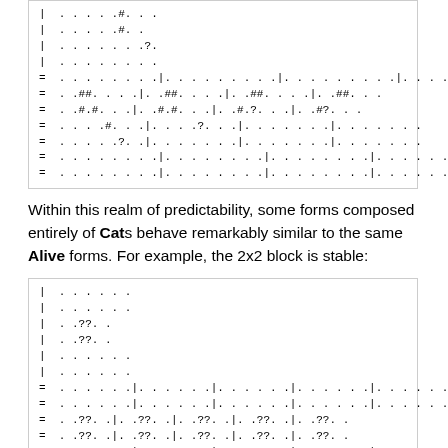[Figure (other): Monospace code/grid display showing cellular automaton patterns with characters like |, =, #, ., ?]
Within this realm of predictability, some forms composed entirely of Cats behave remarkably similar to the same Alive forms. For example, the 2x2 block is stable:
[Figure (other): Monospace code/grid display showing cellular automaton patterns with characters like |, =, ?, . representing a 2x2 block that is stable]